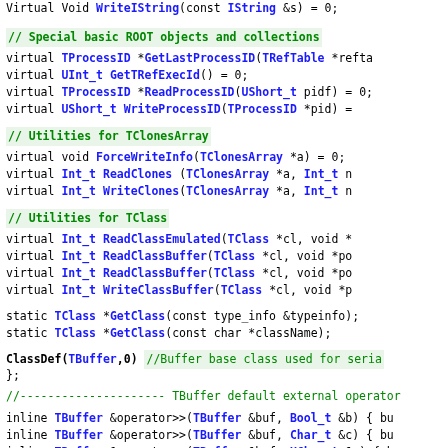Virtual  Void    WriteIString(const IString &s) = 0;
// Special basic ROOT objects and collections
virtual   TProcessID *GetLastProcessID(TRefTable *refta
virtual   UInt_t      GetTRefExecId() = 0;
virtual   TProcessID *ReadProcessID(UShort_t pidf) = 0;
virtual   UShort_t    WriteProcessID(TProcessID *pid) =
// Utilities for TClonesArray
virtual   void        ForceWriteInfo(TClonesArray *a) = 0;
virtual   Int_t       ReadClones (TClonesArray *a, Int_t n
virtual   Int_t       WriteClones(TClonesArray *a, Int_t n
// Utilities for TClass
virtual   Int_t       ReadClassEmulated(TClass *cl, void *
virtual   Int_t       ReadClassBuffer(TClass *cl, void *po
virtual   Int_t       ReadClassBuffer(TClass *cl, void *po
virtual   Int_t       WriteClassBuffer(TClass *cl, void *p
static TClass *GetClass(const type_info &typeinfo);
static TClass *GetClass(const char *className);
ClassDef(TBuffer,0)  //Buffer base class used for seria
};
//---------------------- TBuffer default external operator
inline TBuffer &operator>>(TBuffer &buf, Bool_t &b)   { bu
inline TBuffer &operator>>(TBuffer &buf, Char_t &c)   { bu
inline TBuffer &operator>>(TBuffer &buf, UChar_t &c)  { bu